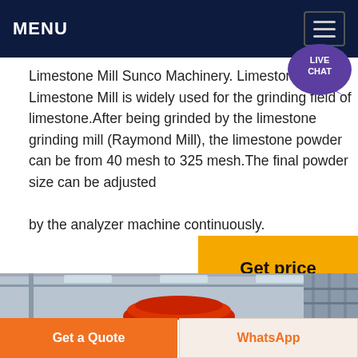MENU
Limestone Mill Sunco Machinery. Limestone Mill :. Limestone Mill is widely used for the grinding field of limestone.After being grinded by the limestone grinding mill (Raymond Mill), the limestone powder can be from 40 mesh to 325 mesh.The final powder size can be adjusted by the analyzer machine continuously.
[Figure (screenshot): Get price button — amber/gold rectangular button with bold text 'Get price']
[Figure (photo): Interior of an industrial factory/warehouse showing a large red machinery dome/cap under a steel structure ceiling with skylights]
Get a Quote
WhatsApp